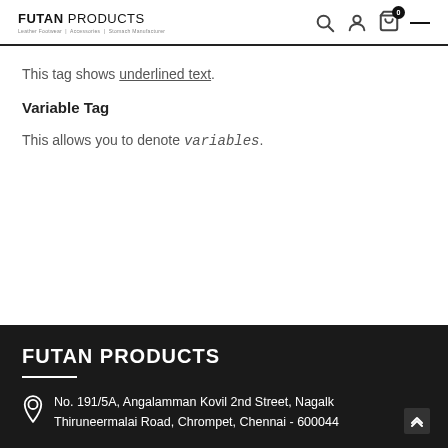FUTAN PRODUCTS — header with search, user, cart icons
This tag shows underlined text.
Variable Tag
This allows you to denote variables.
FUTAN PRODUCTS
No. 191/5A, Angalamman Kovil 2nd Street, Nagalk Thiruneermalai Road, Chrompet, Chennai - 600044